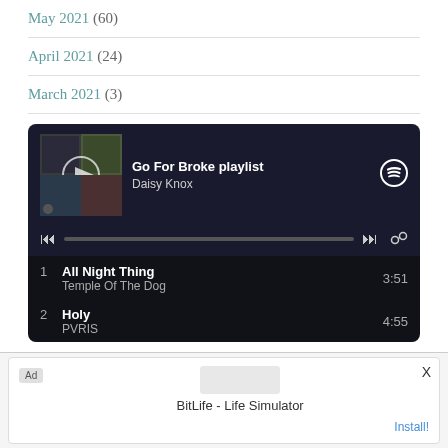May 2021 (60)
April 2021 (24)
March 2021 (3)
[Figure (screenshot): Spotify embedded player widget showing 'Go For Broke playlist' by Daisy Knox. Track 1: All Night Thing by Temple Of The Dog, 3:51. Track 2: Holy by PVRIS, 4:55.]
Advertisements
[Figure (screenshot): Advertisement for BitLife - Life Simulator with an Install! link.]